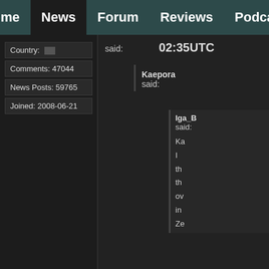Home | News | Forum | Reviews | Podcast
Country:
Comments: 47044
News Posts: 59765
Joined: 2008-06-21
said: 02:35UTC
Kaepora said:
Iga_B said:
Ka
I
th
th
ov
in
Ze
Yup,
and I